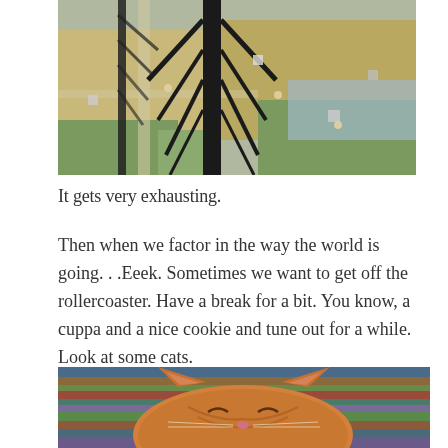[Figure (photo): Aerial view looking down from a roller coaster or tall structure, showing the metal track/structure below and a park or outdoor area with paths, green spaces, and small structures visible from high above.]
It gets very exhausting.
Then when we factor in the way the world is going. . .Eeek. Sometimes we want to get off the rollercoaster. Have a break for a bit. You know, a cuppa and a nice cookie and tune out for a while. Look at some cats.
[Figure (photo): Close-up photo of an orange tabby cat resting its head on a colorful striped fabric or blanket, with the cat's face and ears visible in the foreground.]